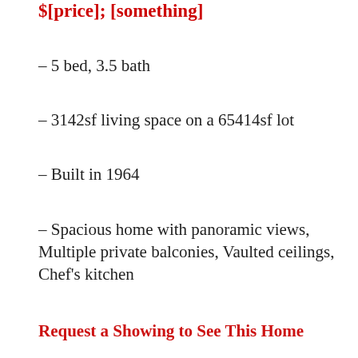$[price]; [something]
– 5 bed, 3.5 bath
– 3142sf living space on a 65414sf lot
– Built in 1964
– Spacious home with panoramic views, Multiple private balconies, Vaulted ceilings, Chef's kitchen
Request a Showing to See This Home
Mark's Preview Notes:
MLS Photos: